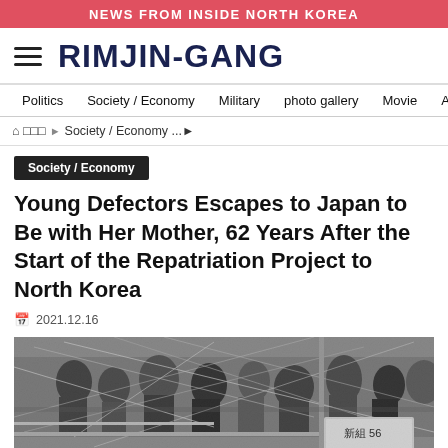NEWS FROM INSIDE NORTH KOREA
RIMJIN-GANG
Politics | Society / Economy | Military | photo gallery | Movie | About Rimjin-
🏠 □□□ ▶ Society / Economy ...▶
Society / Economy
Young Defectors Escapes to Japan to Be with Her Mother, 62 Years After the Start of the Repatriation Project to North Korea
2021.12.16
[Figure (photo): Black and white historical photograph showing people on what appears to be a ship deck or dock, with streamers/ribbons visible. A sign with Japanese characters including '56' is visible in the lower right. The scene appears to depict a departure or repatriation event.]